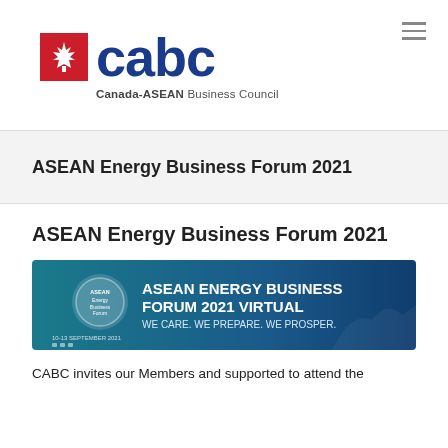[Figure (logo): CABC (Canada-ASEAN Business Council) logo with red maple leaf square icon and bold blue 'cabc' text, with tagline 'Canada-ASEAN Business Council' below]
ASEAN Energy Business Forum 2021
ASEAN Energy Business Forum 2021
[Figure (illustration): ASEAN Energy Business Forum 2021 Virtual banner image with teal/blue gradient background, circular logo on left, text: 'ASEAN ENERGY BUSINESS FORUM 2021 VIRTUAL' and 'WE CARE. WE PREPARE. WE PROSPER.' with date 10-13 September 2021 and social media icons]
CABC invites our Members and supported to attend the